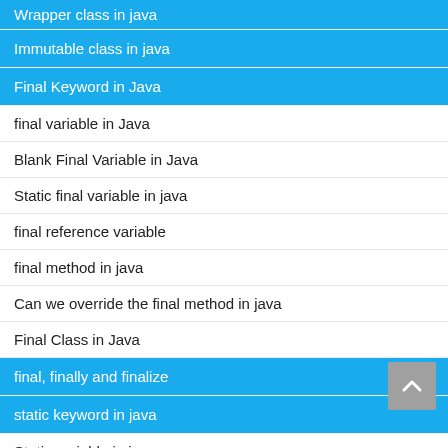Wrapper class in java
Immutable class in java
Final Keyword in Java
final variable in Java
Blank Final Variable in Java
Static final variable in java
final reference variable
final method in java
Can we override the final method in java
Final Class in Java
final, finally and finalize
static keyword in java
Static variable in java
Static final variable in java
static and non-static variable in java
Static method in java
Can we override the static method in java